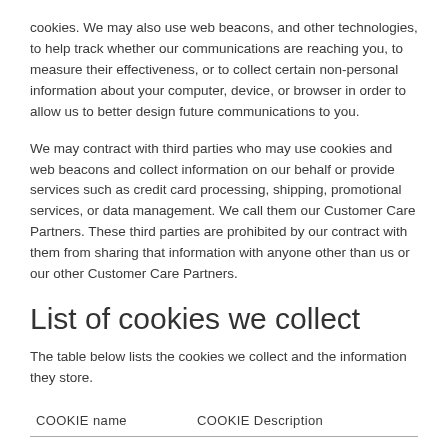cookies. We may also use web beacons, and other technologies, to help track whether our communications are reaching you, to measure their effectiveness, or to collect certain non-personal information about your computer, device, or browser in order to allow us to better design future communications to you.
We may contract with third parties who may use cookies and web beacons and collect information on our behalf or provide services such as credit card processing, shipping, promotional services, or data management. We call them our Customer Care Partners. These third parties are prohibited by our contract with them from sharing that information with anyone other than us or our other Customer Care Partners.
List of cookies we collect
The table below lists the cookies we collect and the information they store.
| COOKIE name | COOKIE Description |
| --- | --- |